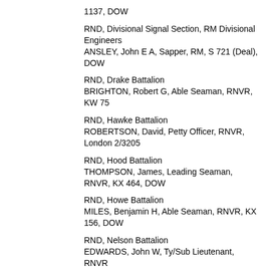1137, DOW
RND, Divisional Signal Section, RM Divisional Engineers
ANSLEY, John E A, Sapper, RM, S 721 (Deal), DOW
RND, Drake Battalion
BRIGHTON, Robert G, Able Seaman, RNVR, KW 75
RND, Hawke Battalion
ROBERTSON, David, Petty Officer, RNVR, London 2/3205
RND, Hood Battalion
THOMPSON, James, Leading Seaman, RNVR, KX 464, DOW
RND, Howe Battalion
MILES, Benjamin H, Able Seaman, RNVR, KX 156, DOW
RND, Nelson Battalion
EDWARDS, John W, Ty/Sub Lieutenant, RNVR
EVANS, Herbert C, Ty/Lieutenant Commander, ...